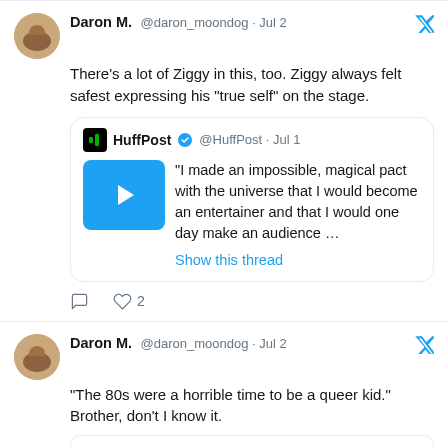Daron M. @daron_moondog · Jul 2
There's a lot of Ziggy in this, too. Ziggy always felt safest expressing his "true self" on the stage.
[Figure (screenshot): Quoted HuffPost tweet with play button thumbnail. HuffPost @HuffPost · Jul 1. Quote: "I made an impossible, magical pact with the universe that I would become an entertainer and that I would one day make an audience ...". Show this thread link.]
♡ 2
Daron M. @daron_moondog · Jul 2
"The 80s were a horrible time to be a queer kid." Brother, don't I know it.